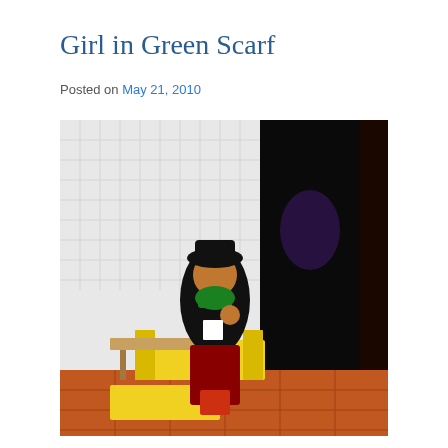Girl in Green Scarf
Posted on May 21, 2010
[Figure (photo): A person wearing a black hat and green scarf sitting on yellow chairs at a table, with white tiled wall behind them and a dark doorway to the right, red tiled floor visible at bottom.]